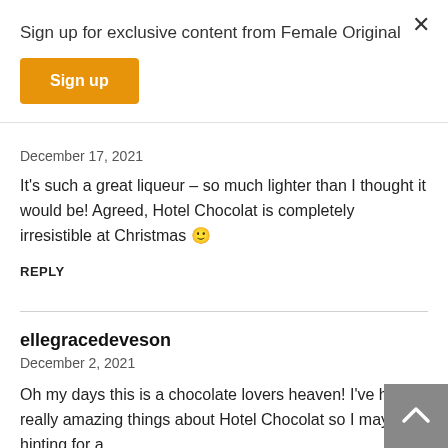Sign up for exclusive content from Female Original
Sign up
December 17, 2021
It's such a great liqueur – so much lighter than I thought it would be! Agreed, Hotel Chocolat is completely irresistible at Christmas 🙂
REPLY
ellegracedeveson
December 2, 2021
Oh my days this is a chocolate lovers heaven! I've heard really amazing things about Hotel Chocolat so I may be hinting for a